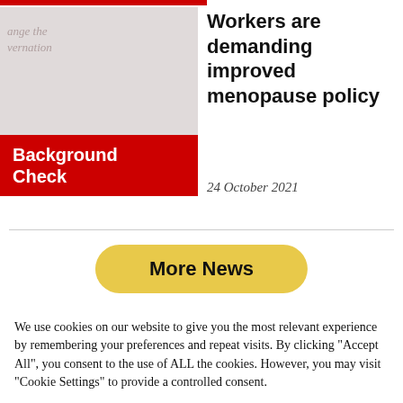[Figure (photo): Thumbnail image with red 'Background Check' badge overlay and faded background showing a person]
Workers are demanding improved menopause policy
24 October 2021
More News
We use cookies on our website to give you the most relevant experience by remembering your preferences and repeat visits. By clicking "Accept All", you consent to the use of ALL the cookies. However, you may visit "Cookie Settings" to provide a controlled consent.
Cookie Settings
Accept All